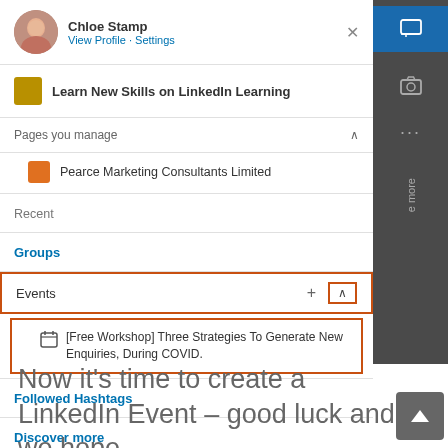[Figure (screenshot): LinkedIn navigation sidebar showing profile of Chloe Stamp, LinkedIn Learning banner, Pages you manage section with Pearce Marketing Consultants Limited, Recent, Groups, Events (with orange outlines highlighting Events section and an event listing for '[Free Workshop] Three Strategies To Generate New Enquiries, During COVID.'), Followed Hashtags, and Discover more links. A dark sidebar is visible on the right side.]
Now it’s time to create a LinkedIn Event – good luck and we hope